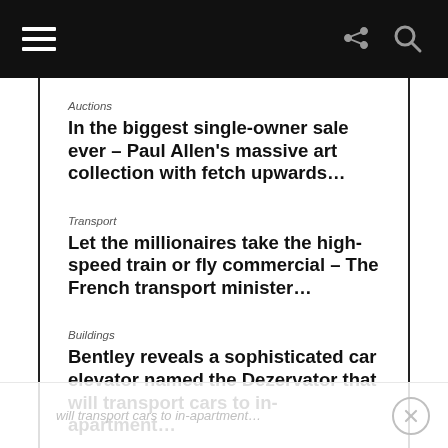Navigation bar with hamburger menu, share icon, and search icon
Auctions
In the biggest single-owner sale ever – Paul Allen's massive art collection with fetch upwards…
Transport
Let the millionaires take the high-speed train or fly commercial – The French transport minister…
Buildings
Bentley reveals a sophisticated car elevator named the Dezervator that will transport cars to in-apartment…